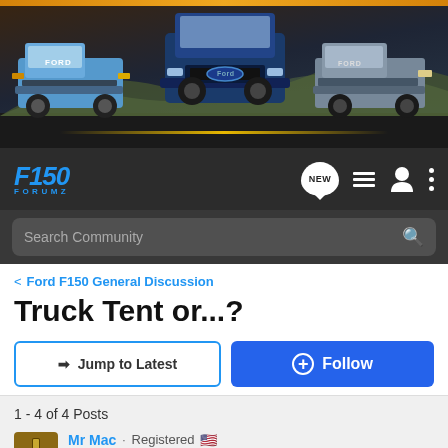[Figure (photo): F150 Forumz website header banner showing three Ford F-150 trucks (Raptor, standard F-150, and older generation) on a desert highway, with an orange bar at the top]
F150 FORUMZ — navigation bar with NEW badge, list icon, user icon, and menu dots. Search Community search bar.
< Ford F150 General Discussion
Truck Tent or...?
→ Jump to Latest | + Follow
1 - 4 of 4 Posts
Mr Mac · Registered 🇺🇸
2013 F-150 XLT 4WD with 5l